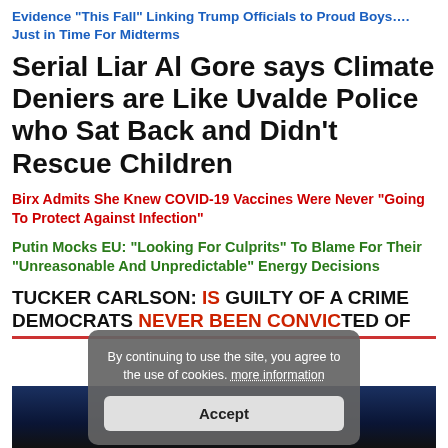Evidence “This Fall” Linking Trump Officials to Proud Boys…. Just in Time For Midterms
Serial Liar Al Gore says Climate Deniers are Like Uvalde Police who Sat Back and Didn’t Rescue Children
Birx Admits She Knew COVID-19 Vaccines Were Never “Going To Protect Against Infection”
Putin Mocks EU: “Looking For Culprits” To Blame For Their “Unreasonable And Unpredictable” Energy Decisions
TUCKER CARLSON: [TRUMP IS] GUILTY OF A CRIME DEMOCRATS [NEVER BEEN CONVICTED] OF
By continuing to use the site, you agree to the use of cookies. more information
Accept
[Figure (screenshot): Video thumbnail showing Tucker Carlson on a dark blue background]